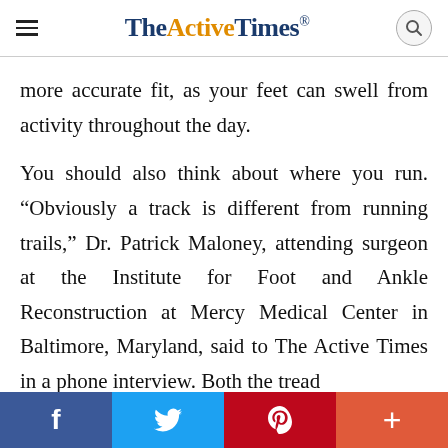TheActiveTimes
more accurate fit, as your feet can swell from activity throughout the day.
You should also think about where you run. “Obviously a track is different from running trails,” Dr. Patrick Maloney, attending surgeon at the Institute for Foot and Ankle Reconstruction at Mercy Medical Center in Baltimore, Maryland, said to The Active Times in a phone interview. Both the tread
[Figure (infographic): Social media sharing bar with four buttons: Facebook (blue), Twitter (light blue), Pinterest (red), and a plus/more button (orange-red)]